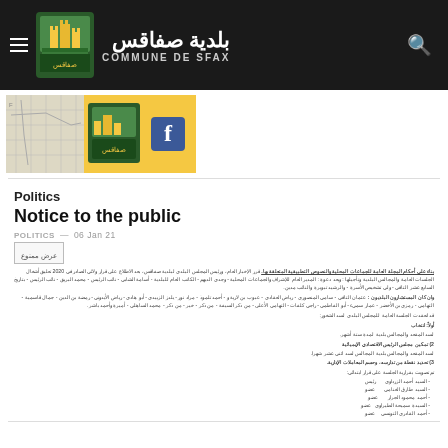بلدية صفاقس — COMMUNE DE SFAX
[Figure (screenshot): Website banner with map background, Sfax municipality logo, and Facebook icon on yellow background]
Politics
Notice to the public
POLITICS — 06 Jan 21
[Figure (screenshot): Arabic document preview showing public notice text with names and agenda items]
Arabic public notice document with council members and agenda items listed